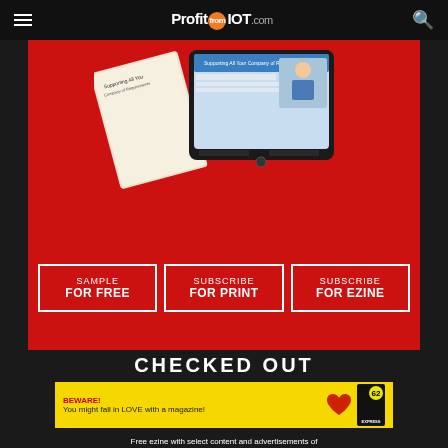ProfitfromIOT.com
[Figure (screenshot): Red hero section with tablet device showing a website and magazine, with three subscription buttons: SAMPLE FOR FREE, SUBSCRIBE FOR PRINT, SUBSCRIBE FOR EZINE]
CHECKED OUT
[Figure (infographic): Yellow banner ad with text BEWARE! You might fall in LOVE with a magazine!, a red heart, and a magazine cover]
Free ezine with select content and advertisements of